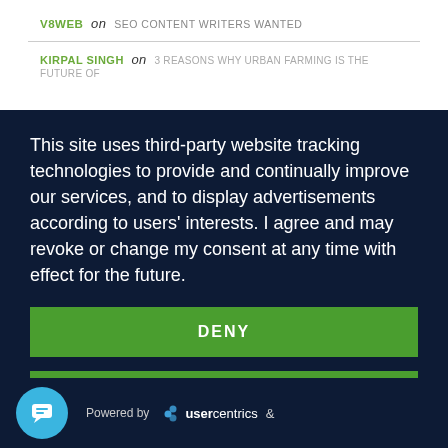V8WEB on SEO CONTENT WRITERS WANTED
KIRPAL SINGH on 3 REASONS WHY URBAN FARMING IS THE FUTURE OF
This site uses third-party website tracking technologies to provide and continually improve our services, and to display advertisements according to users' interests. I agree and may revoke or change my consent at any time with effect for the future.
DENY
ACCEPT
MORE
Powered by usercentrics &